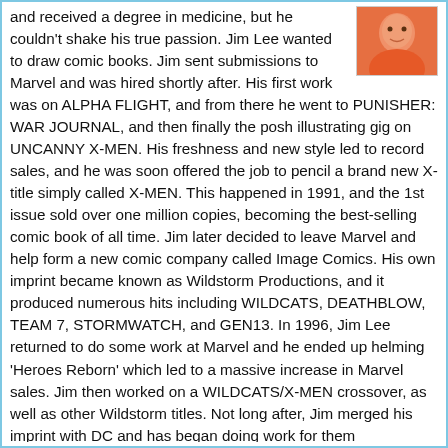[Figure (photo): Small portrait photo of Jim Lee in the upper right corner, showing a man with a pink/orange toned image]
and received a degree in medicine, but he couldn't shake his true passion. Jim Lee wanted to draw comic books. Jim sent submissions to Marvel and was hired shortly after. His first work was on ALPHA FLIGHT, and from there he went to PUNISHER: WAR JOURNAL, and then finally the posh illustrating gig on UNCANNY X-MEN. His freshness and new style led to record sales, and he was soon offered the job to pencil a brand new X-title simply called X-MEN. This happened in 1991, and the 1st issue sold over one million copies, becoming the best-selling comic book of all time. Jim later decided to leave Marvel and help form a new comic company called Image Comics. His own imprint became known as Wildstorm Productions, and it produced numerous hits including WILDCATS, DEATHBLOW, TEAM 7, STORMWATCH, and GEN13. In 1996, Jim Lee returned to do some work at Marvel and he ended up helming 'Heroes Reborn' which led to a massive increase in Marvel sales. Jim then worked on a WILDCATS/X-MEN crossover, as well as other Wildstorm titles. Not long after, Jim merged his imprint with DC and has began doing work for them